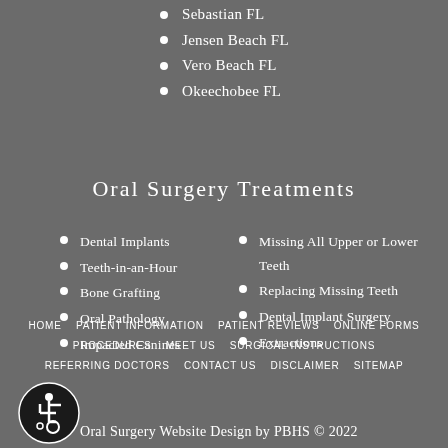Sebastian FL
Jensen Beach FL
Vero Beach FL
Okeechobee FL
Oral Surgery Treatments
Dental Implants
Teeth-in-an-Hour
Bone Grafting
Oral Pathology
Impacted Canines
Missing All Upper or Lower Teeth
Replacing Missing Teeth
Dental Implant Surgery
Extractions
HOME  PATIENT INFORMATION  PATIENT REVIEWS  ONLINE FORMS  PROCEDURES  MEET US  SURGICAL INSTRUCTIONS  REFERRING DOCTORS  CONTACT US  DISCLAIMER  SITEMAP  Oral Surgery Website Design by PBHS © 2022